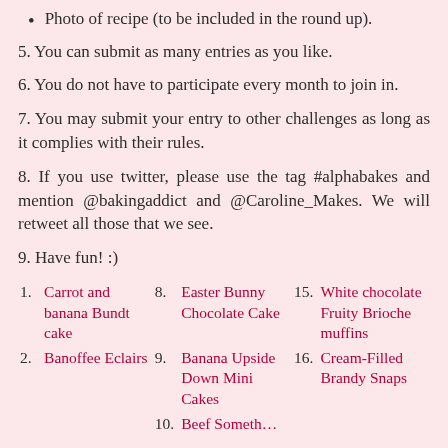Photo of recipe (to be included in the round up).
5. You can submit as many entries as you like.
6. You do not have to participate every month to join in.
7. You may submit your entry to other challenges as long as it complies with their rules.
8. If you use twitter, please use the tag #alphabakes and mention @bakingaddict and @Caroline_Makes. We will retweet all those that we see.
9. Have fun! :)
| # | Entry | # | Entry | # | Entry |
| --- | --- | --- | --- | --- | --- |
| 1. | Carrot and banana Bundt cake | 8. | Easter Bunny Chocolate Cake | 15. | White chocolate Fruity Brioche muffins |
| 2. | Banoffee Eclairs | 9. | Banana Upside Down Mini Cakes | 16. | Cream-Filled Brandy Snaps |